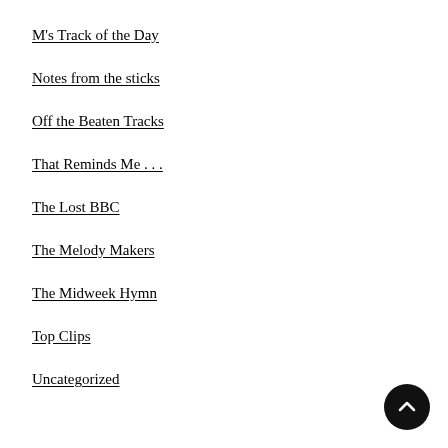M's Track of the Day
Notes from the sticks
Off the Beaten Tracks
That Reminds Me . . .
The Lost BBC
The Melody Makers
The Midweek Hymn
Top Clips
Uncategorized